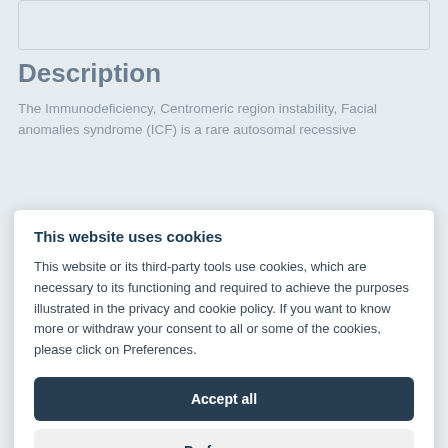Description
The Immunodeficiency, Centromeric region instability, Facial anomalies syndrome (ICF) is a rare autosomal recessive
This website uses cookies
This website or its third-party tools use cookies, which are necessary to its functioning and required to achieve the purposes illustrated in the privacy and cookie policy. If you want to know more or withdraw your consent to all or some of the cookies, please click on Preferences.
Accept all
Preferences